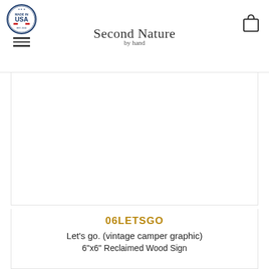Made in USA badge | Second Nature by Hand | Cart icon
[Figure (photo): Product image area - white/blank product photo placeholder with border]
06LETSGO
Let's go. (vintage camper graphic)
6"x6" Reclaimed Wood Sign